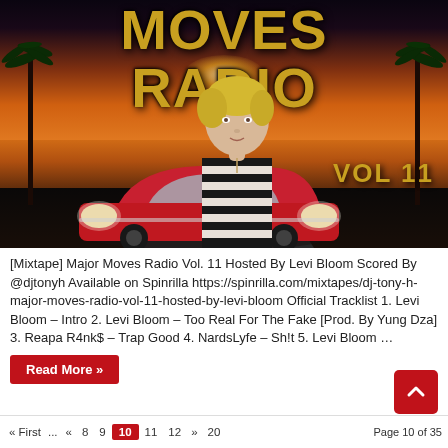[Figure (photo): Mixtape cover art for Major Moves Radio Vol. 11 hosted by Levi Bloom. Shows a young man in a striped shirt in front of a classic red car, with palm trees and a sunset background. Gold text reads MOVES RADIO VOL 11.]
[Mixtape] Major Moves Radio Vol. 11 Hosted By Levi Bloom Scored By @djtonyh Available on Spinrilla https://spinrilla.com/mixtapes/dj-tony-h-major-moves-radio-vol-11-hosted-by-levi-bloom Official Tracklist 1. Levi Bloom – Intro 2. Levi Bloom – Too Real For The Fake [Prod. By Yung Dza] 3. Reapa R4nk$ – Trap Good 4. NardsLyfe – Sh!t 5. Levi Bloom …
Read More »
« First   ...   «   8   9   10   11   12   »   20     Page 10 of 35